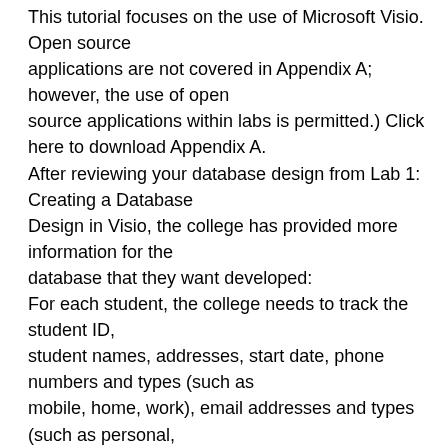This tutorial focuses on the use of Microsoft Visio. Open source applications are not covered in Appendix A; however, the use of open source applications within labs is permitted.) Click here to download Appendix A. After reviewing your database design from Lab 1: Creating a Database Design in Visio, the college has provided more information for the database that they want developed: For each student, the college needs to track the student ID, student names, addresses, start date, phone numbers and types (such as mobile, home, work), email addresses and types (such as personal, school, work), gender, and birth date.For each course, the college needs to track the course ID, course